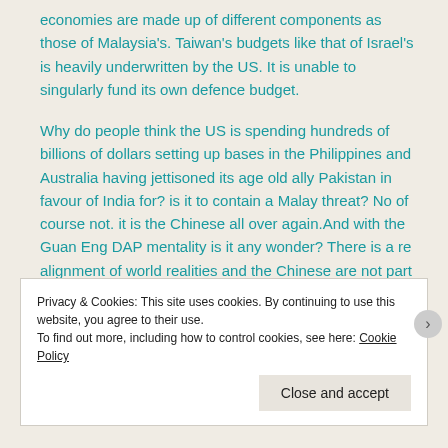economies are made up of different components as those of Malaysia's. Taiwan's budgets like that of Israel's is heavily underwritten by the US. It is unable to singularly fund its own defence budget.
Why do people think the US is spending hundreds of billions of dollars setting up bases in the Philippines and Australia having jettisoned its age old ally Pakistan in favour of India for? is it to contain a Malay threat? No of course not. it is the Chinese all over again.And with the Guan Eng DAP mentality is it any wonder? There is a re alignment of world realities and the Chinese are not part of it.
Taiwan also was for a very long time was a pirate state that did not conform to international law. It was not recognized by the world
Privacy & Cookies: This site uses cookies. By continuing to use this website, you agree to their use.
To find out more, including how to control cookies, see here: Cookie Policy
Close and accept